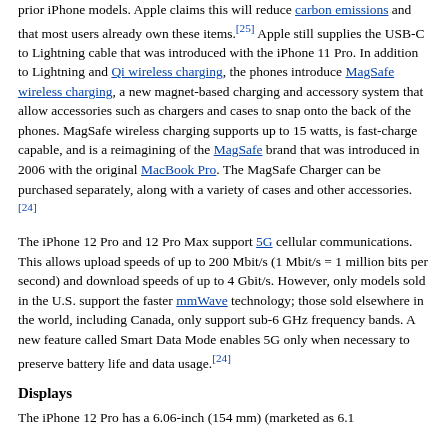prior iPhone models. Apple claims this will reduce carbon emissions and that most users already own these items.[25] Apple still supplies the USB-C to Lightning cable that was introduced with the iPhone 11 Pro. In addition to Lightning and Qi wireless charging, the phones introduce MagSafe wireless charging, a new magnet-based charging and accessory system that allow accessories such as chargers and cases to snap onto the back of the phones. MagSafe wireless charging supports up to 15 watts, is fast-charge capable, and is a reimagining of the MagSafe brand that was introduced in 2006 with the original MacBook Pro. The MagSafe Charger can be purchased separately, along with a variety of cases and other accessories.[24]
The iPhone 12 Pro and 12 Pro Max support 5G cellular communications. This allows upload speeds of up to 200 Mbit/s (1 Mbit/s = 1 million bits per second) and download speeds of up to 4 Gbit/s. However, only models sold in the U.S. support the faster mmWave technology; those sold elsewhere in the world, including Canada, only support sub-6 GHz frequency bands. A new feature called Smart Data Mode enables 5G only when necessary to preserve battery life and data usage.[24]
Displays
The iPhone 12 Pro has a 6.06-inch (154 mm) (marketed as 6.1